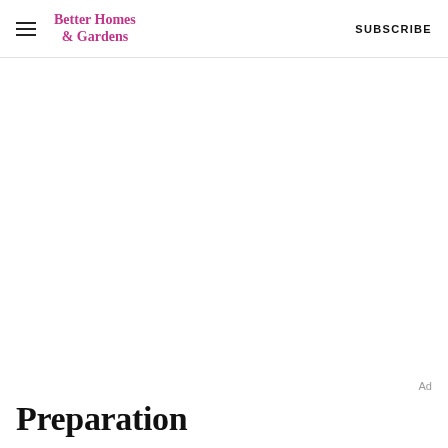Better Homes & Gardens  SUBSCRIBE
Ad
Preparation